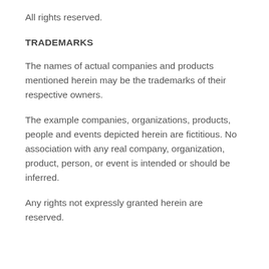All rights reserved.
TRADEMARKS
The names of actual companies and products mentioned herein may be the trademarks of their respective owners.
The example companies, organizations, products, people and events depicted herein are fictitious. No association with any real company, organization, product, person, or event is intended or should be inferred.
Any rights not expressly granted herein are reserved.